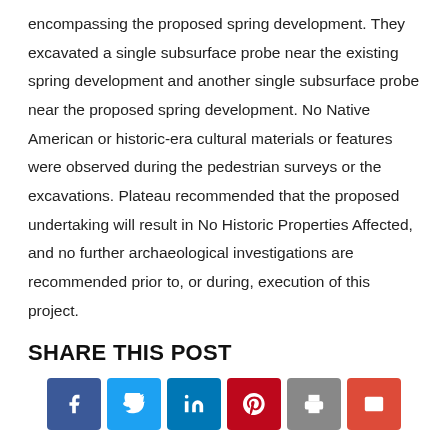encompassing the proposed spring development. They excavated a single subsurface probe near the existing spring development and another single subsurface probe near the proposed spring development. No Native American or historic-era cultural materials or features were observed during the pedestrian surveys or the excavations. Plateau recommended that the proposed undertaking will result in No Historic Properties Affected, and no further archaeological investigations are recommended prior to, or during, execution of this project.
SHARE THIS POST